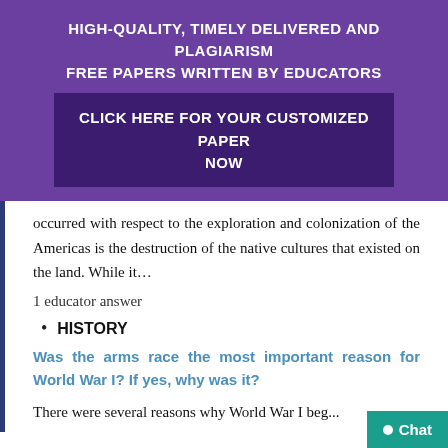HIGH-QUALITY, TIMELY DELIVERED AND PLAGIARISM FREE PAPERS WRITTEN BY EDUCATORS
CLICK HERE FOR YOUR CUSTOMIZED PAPER NOW
occurred with respect to the exploration and colonization of the Americas is the destruction of the native cultures that existed on the land. While it...
1 educator answer
HISTORY
Was the arms race the most important reason for World War I? If yes, why was it?
There were several reasons why World War I beg...